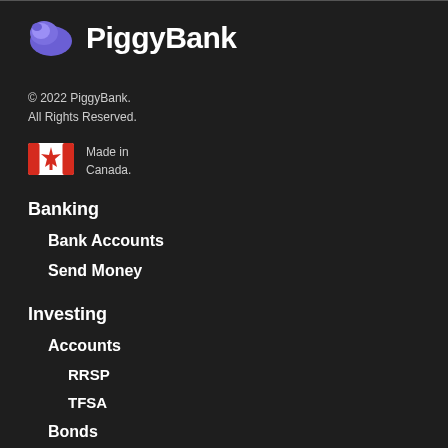[Figure (logo): PiggyBank logo with purple pig icon and bold white text 'PiggyBank']
© 2022 PiggyBank.
All Rights Reserved.
[Figure (illustration): Canadian flag emoji/icon]
Made in
Canada.
Banking
Bank Accounts
Send Money
Investing
Accounts
RRSP
TFSA
Bonds